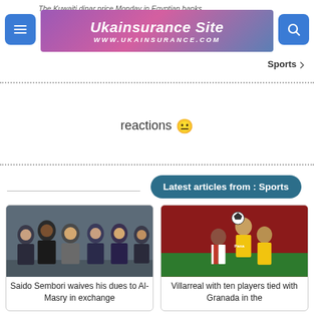Ukainsurance Site - WWW.UKAINSURANCE.COM
The Kuwaiti dinar price Monday in Egyptian banks
Sports
reactions 😐
Latest articles from : Sports
[Figure (photo): Group of people posing for a photo, related to Saido Sembori Al-Masry news]
Saido Sembori waives his dues to Al-Masry in exchange
[Figure (photo): Soccer players heading the ball, Villarreal in yellow vs Granada in red and white stripes]
Villarreal with ten players tied with Granada in the